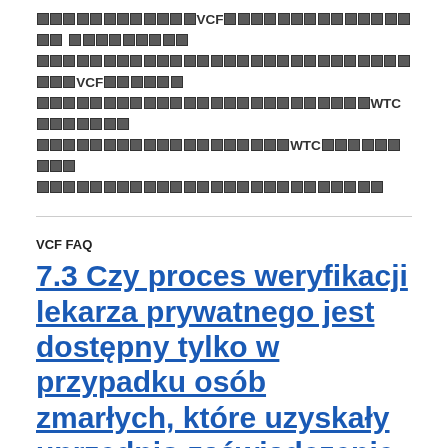[redacted text block with VCF and WTC references — content obscured by redaction marks]
VCF FAQ
7.3 Czy proces weryfikacji lekarza prywatnego jest dostępny tylko w przypadku osób zmarłych, które uzyskały uprzednio zaświadczenie z Departamentu Zdrowia WTC